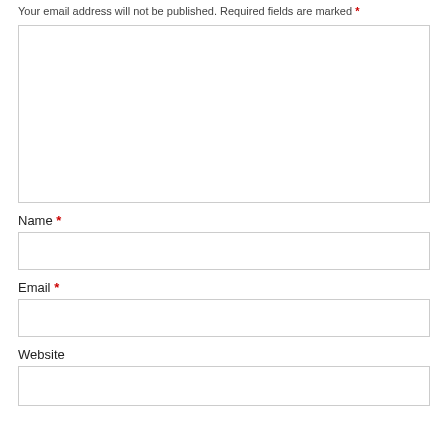Your email address will not be published. Required fields are marked *
[Figure (other): Large empty comment textarea input box with light gray border]
Name *
[Figure (other): Single-line text input box for Name field with light gray border]
Email *
[Figure (other): Single-line text input box for Email field with light gray border]
Website
[Figure (other): Single-line text input box for Website field with light gray border]